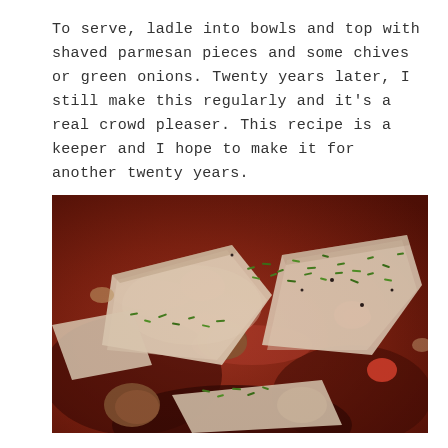To serve, ladle into bowls and top with shaved parmesan pieces and some chives or green onions. Twenty years later, I still make this regularly and it's a real crowd pleaser. This recipe is a keeper and I hope to make it for another twenty years.
[Figure (photo): Close-up food photograph of a dish in a tomato-based broth topped with large shaved parmesan pieces and chopped fresh chives/green onions, with meat pieces visible.]